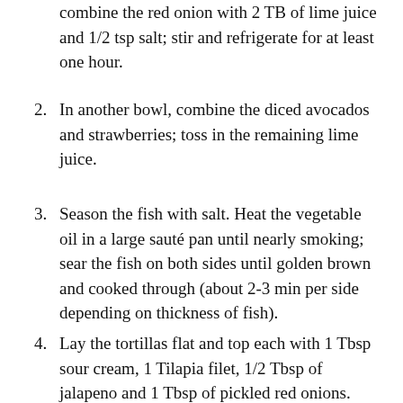combine the red onion with 2 TB of lime juice and 1/2 tsp salt; stir and refrigerate for at least one hour.
2. In another bowl, combine the diced avocados and strawberries; toss in the remaining lime juice.
3. Season the fish with salt. Heat the vegetable oil in a large sauté pan until nearly smoking; sear the fish on both sides until golden brown and cooked through (about 2-3 min per side depending on thickness of fish).
4. Lay the tortillas flat and top each with 1 Tbsp sour cream, 1 Tilapia filet, 1/2 Tbsp of jalapeno and 1 Tbsp of pickled red onions. Take the strawberry avocado mixture and divide it equally among each taco – serve